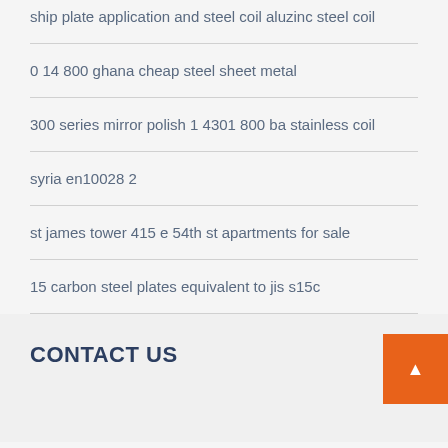ship plate application and steel coil aluzinc steel coil
0 14 800 ghana cheap steel sheet metal
300 series mirror polish 1 4301 800 ba stainless coil
syria en10028 2
st james tower 415 e 54th st apartments for sale
15 carbon steel plates equivalent to jis s15c
CONTACT US